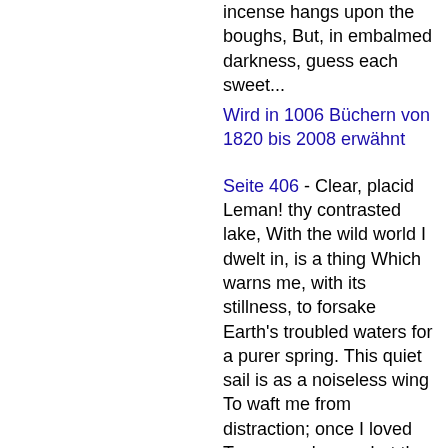incense hangs upon the boughs, But, in embalmed darkness, guess each sweet...
Wird in 1006 Büchern von 1820 bis 2008 erwähnt
Seite 406 - Clear, placid Leman! thy contrasted lake, With the wild world I dwelt in, is a thing Which warns me, with its stillness, to forsake Earth's troubled waters for a purer spring. This quiet sail is as a noiseless wing To waft me from distraction; once I loved Torn ocean's roar, but thy soft murmuring Sounds sweet as if a sister's voice reproved,